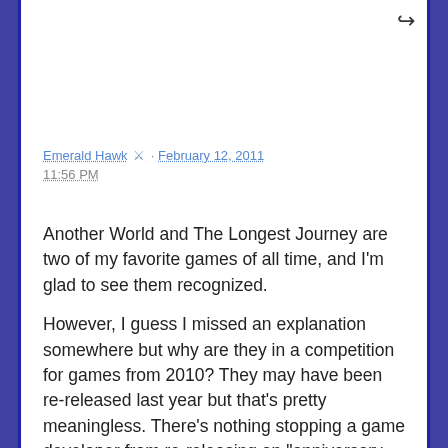Emerald Hawk 🏃 · February 12, 2011
11:56 PM
Another World and The Longest Journey are two of my favorite games of all time, and I'm glad to see them recognized.
However, I guess I missed an explanation somewhere but why are they in a competition for games from 2010? They may have been re-released last year but that's pretty meaningless. There's nothing stopping a game developer from re-releasing an "anniversary edition" every year in order to re-enter every contest. For example, Nethack gets "released" on a new platform almost every year, but I wouldn't want to see it win Best Roguelike over and over again. Maybe have a "Best Revival" category like the Tony Awards do instead.